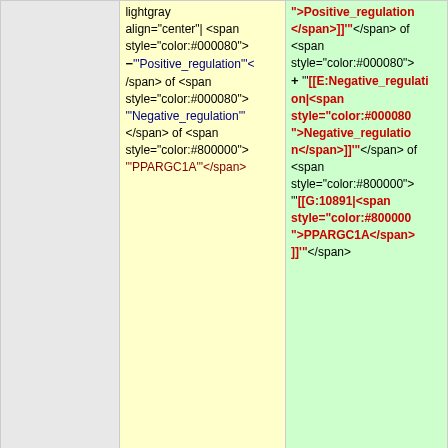| (sidebar) | lightgray align="center"| <span style="color:#000080">−'"Positive_regulation"'</span> of <span style="color:#000080">'''Negative_regulation'''</span> of <span style="color:#800000">'''PPARGC1A'''</span> | +
">Positive_regulation</span>]]'"</span> of <span style="color:#000080">"[[E:Negative_regulation|<span style="color:#000080">Negative_regulation</span>]]'"</span> of <span style="color:#800000">"[[G:10891|<span style="color:#800000">PPARGC1A</span>]]'"</span> |
| (sidebar) | | style="color: black; background:#F1FEFE; border: 1px solid lightgray" align="center"| 1 | | style="color: black; background:#F1FEFE; border: 1px solid lightgray" align="center"| 1 |
| (sidebar) | | style="color: black; background:#FFB6C1; border: 1px solid | | style="color: black; background:#FFB6C1; border: 1px solid |